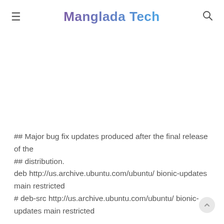Manglada Tech
## Major bug fix updates produced after the final release of the
## distribution.
deb http://us.archive.ubuntu.com/ubuntu/ bionic-updates main restricted
# deb-src http://us.archive.ubuntu.com/ubuntu/ bionic-updates main restricted